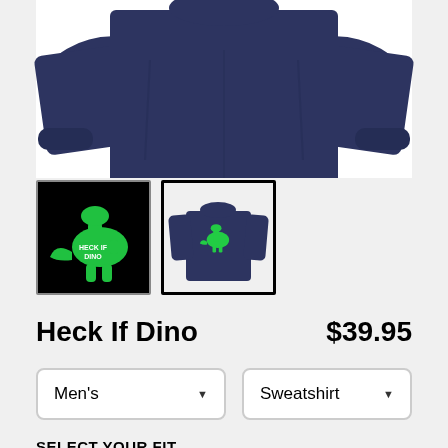[Figure (photo): Navy blue sweatshirt product image cropped at top, showing the bottom portion of the garment with sleeves]
[Figure (photo): Thumbnail 1: Black background with green glowing dinosaur and 'Heck If Dino' text logo]
[Figure (photo): Thumbnail 2 (selected): Navy sweatshirt with green dinosaur design, white border selected state]
Heck If Dino
$39.95
Men's
Sweatshirt
SELECT YOUR FIT
$39.95
French Terry